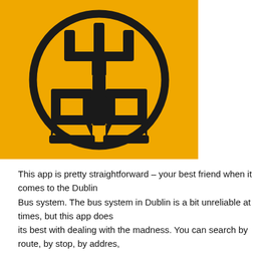[Figure (logo): Dublin Bus logo: black stylized 'db' letters inside a circle on a golden yellow square background]
This app is pretty straightforward – your best friend when it comes to the Dublin Bus system. The bus system in Dublin is a bit unreliable at times, but this app does its best with dealing with the madness. You can search by route, by stop, by addres,